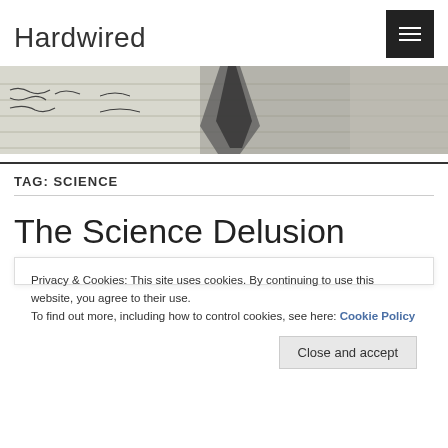Hardwired
[Figure (photo): Close-up photo of a pen writing on lined paper]
TAG: SCIENCE
The Science Delusion
Privacy & Cookies: This site uses cookies. By continuing to use this website, you agree to their use.
To find out more, including how to control cookies, see here: Cookie Policy
Close and accept